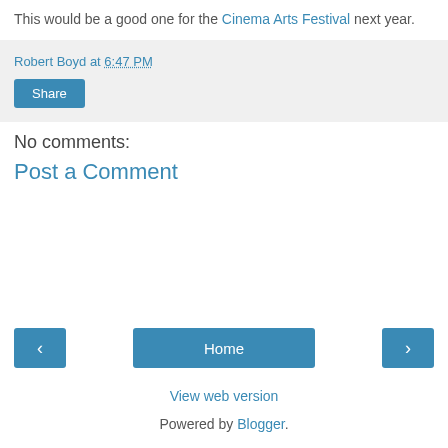This would be a good one for the Cinema Arts Festival next year.
Robert Boyd at 6:47 PM
Share
No comments:
Post a Comment
< Home >
View web version
Powered by Blogger.